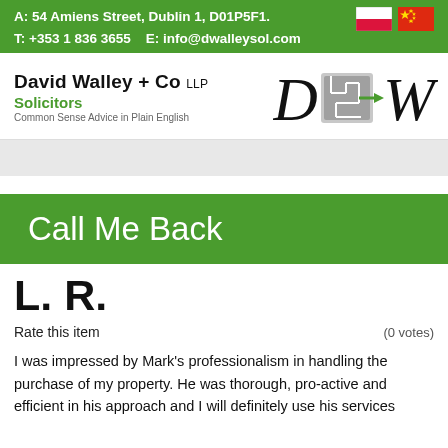A: 54 Amiens Street, Dublin 1, D01P5F1.
T: +353 1 836 3655   E: info@dwalleysol.com
[Figure (logo): David Walley + Co LLP Solicitors logo with maze graphic between D and W letters]
Call Me Back
L. R.
Rate this item
(0 votes)
I was impressed by Mark's professionalism in handling the purchase of my property. He was thorough, pro-active and efficient in his approach and I will definitely use his services